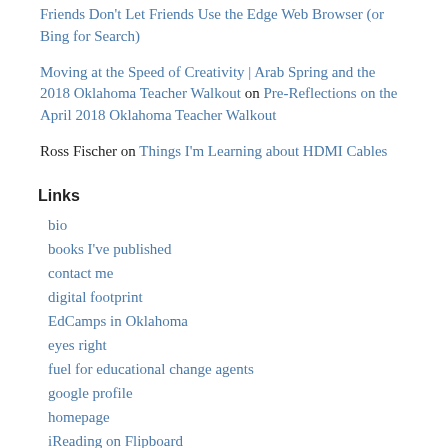Friends Don't Let Friends Use the Edge Web Browser (or Bing for Search)
Moving at the Speed of Creativity | Arab Spring and the 2018 Oklahoma Teacher Walkout on Pre-Reflections on the April 2018 Oklahoma Teacher Walkout
Ross Fischer on Things I'm Learning about HDMI Cables
Links
bio
books I've published
contact me
digital footprint
EdCamps in Oklahoma
eyes right
fuel for educational change agents
google profile
homepage
iReading on Flipboard
learning signs (family blog)
mapping media to the curriculum (digital literacy framework)